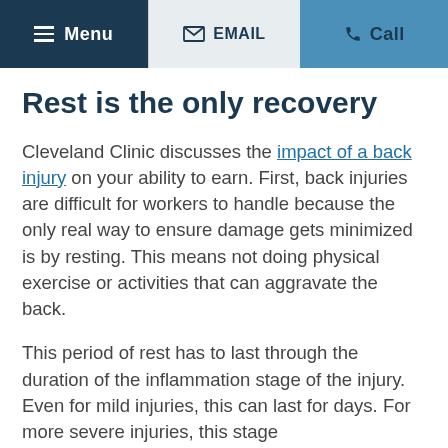Menu | EMAIL | Call
Rest is the only recovery
Cleveland Clinic discusses the impact of a back injury on your ability to earn. First, back injuries are difficult for workers to handle because the only real way to ensure damage gets minimized is by resting. This means not doing physical exercise or activities that can aggravate the back.
This period of rest has to last through the duration of the inflammation stage of the injury. Even for mild injuries, this can last for days. For more severe injuries, this stage